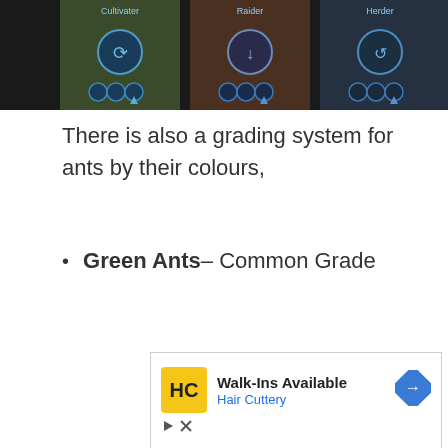[Figure (screenshot): Screenshot of a game interface showing ant character cards with labels 'Cultivater', 'Raider', 'Herder' and circular icons]
There is also a grading system for ants by their colours,
Green Ants– Common Grade
[Figure (screenshot): Advertisement for Hair Cuttery: Walk-Ins Available with HC logo and navigation arrow icon]